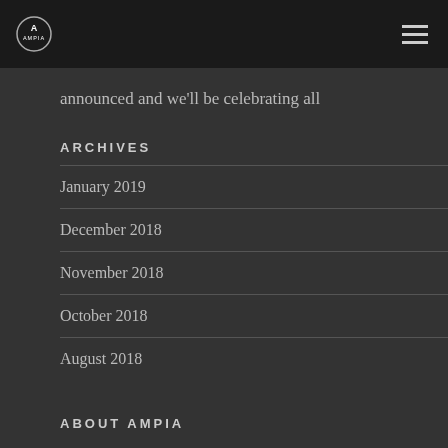AMPIA
announced and we'll be celebrating all
ARCHIVES
January 2019
December 2018
November 2018
October 2018
August 2018
ABOUT AMPIA
Alberta Media Production Industries Association